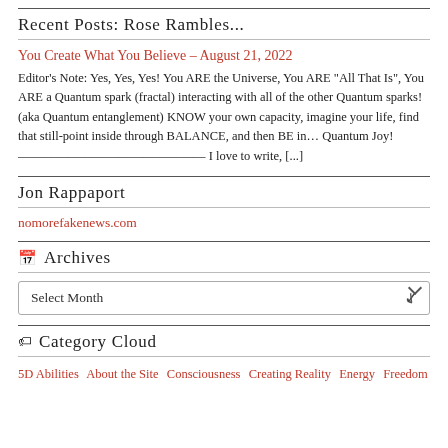Recent Posts: Rose Rambles...
You Create What You Believe – August 21, 2022
Editor's Note: Yes, Yes, Yes! You ARE the Universe, You ARE “All That Is”, You ARE a Quantum spark (fractal) interacting with all of the other Quantum sparks! (aka Quantum entanglement) KNOW your own capacity, imagine your life, find that still-point inside through BALANCE, and then BE in... Quantum Joy! —————————————————————— I love to write, [...]
Jon Rappaport
nomorefakenews.com
Archives
Select Month
Category Cloud
5D Abilities  About the Site  Consciousness  Creating Reality  Energy  Freedom